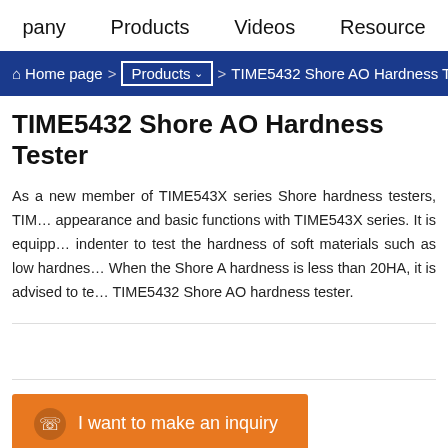pany   Products   Videos   Resource
Home page > Products ∨ > TIME5432 Shore AO Hardness Tester
TIME5432 Shore AO Hardness Tester
As a new member of TIME543X series Shore hardness testers, TIME5432 shares the same appearance and basic functions with TIME543X series. It is equipped with a flat-nose indenter to test the hardness of soft materials such as low hardness rubber and foam. When the Shore A hardness is less than 20HA, it is advised to test with the TIME5432 Shore AO hardness tester.
I want to make an inquiry